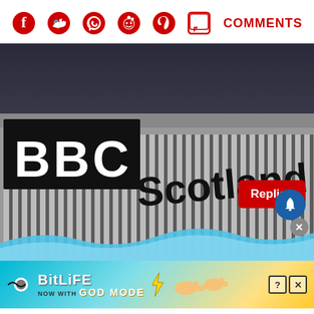[Figure (infographic): Social media sharing icons row: Facebook, Twitter, WhatsApp, Reddit, Pinterest, Comments speech bubble — all in red, with COMMENTS label]
[Figure (photo): BBC Scotland building exterior with large black BBC Scotland sign on a modern glass facade, dark sky background. Overlaid with a red 'Replies' button, a blue bell notification icon, and a grey close (X) button. Blue wave divider at bottom.]
[Figure (infographic): BitLife advertisement banner: 'BitLife NOW WITH GOD MODE' in stylized text on a colorful gradient background with cartoon hands and question/close icons]